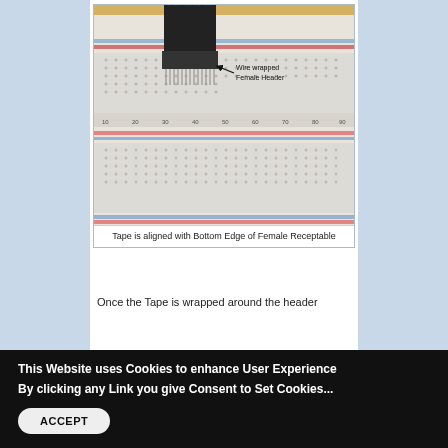[Figure (photo): Photo of a breadboard with a wire-wrapped female header connector inserted into it. Red wires are visible at the top. An annotation arrow points to a component labeled 'Wire wrapped Female Header'. The breadboard shows ruler markings and colored (red/blue) strip lines.]
Tape is aligned with Bottom Edge of Female Receptable
Once the Tape is wrapped around the header
This Website uses Cookies to enhance User Experience
By clicking any Link you give Consent to Set Cookies...
ACCEPT